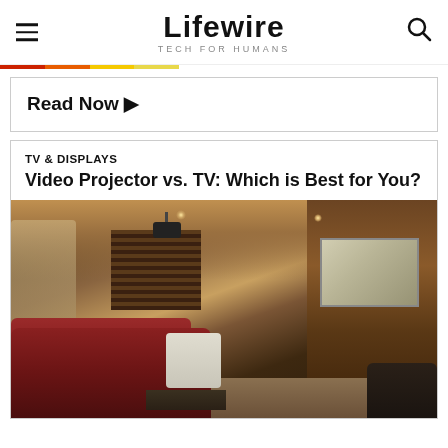Lifewire TECH FOR HUMANS
Read Now ▶
TV & DISPLAYS
Video Projector vs. TV: Which is Best for You?
[Figure (photo): Home theater room with projection screen, red leather sofa, wooden paneling, recessed lighting, and a ceiling-mounted projector]